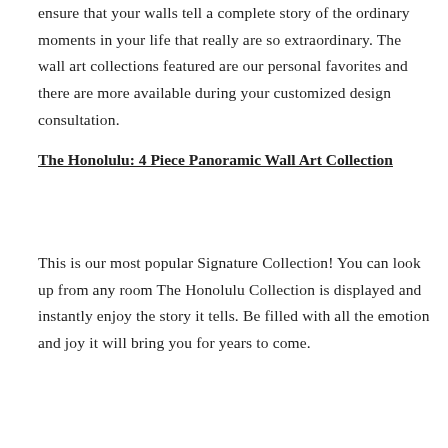ensure that your walls tell a complete story of the ordinary moments in your life that really are so extraordinary. The wall art collections featured are our personal favorites and there are more available during your customized design consultation.
The Honolulu: 4 Piece Panoramic Wall Art Collection
This is our most popular Signature Collection! You can look up from any room The Honolulu Collection is displayed and instantly enjoy the story it tells. Be filled with all the emotion and joy it will bring you for years to come.